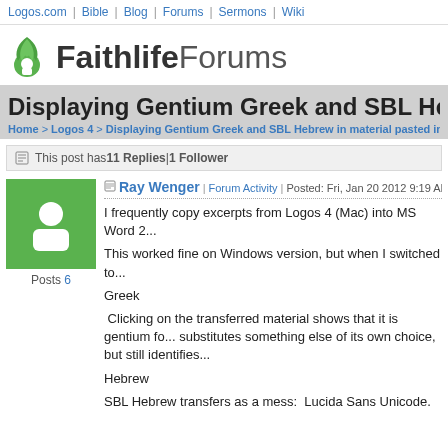Logos.com | Bible | Blog | Forums | Sermons | Wiki
[Figure (logo): Faithlife Forums logo with green flame icon]
Displaying Gentium Greek and SBL Hebrew
Home > Logos 4 > Displaying Gentium Greek and SBL Hebrew in material pasted into MS...
This post has 11 Replies | 1 Follower
Ray Wenger | Forum Activity | Posted: Fri, Jan 20 2012 9:19 AM
I frequently copy excerpts from Logos 4 (Mac) into MS Word 2...
This worked fine on Windows version, but when I switched to...
Greek
Clicking on the transferred material shows that it is gentium fo... substitutes something else of its own choice, but still identifies...
Hebrew
SBL Hebrew transfers as a mess:  Lucida Sans Unicode.